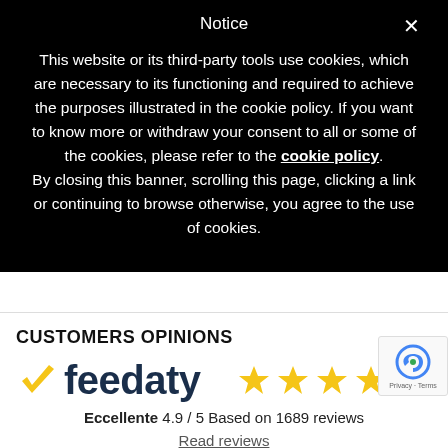Notice
This website or its third-party tools use cookies, which are necessary to its functioning and required to achieve the purposes illustrated in the cookie policy. If you want to know more or withdraw your consent to all or some of the cookies, please refer to the cookie policy. By closing this banner, scrolling this page, clicking a link or continuing to browse otherwise, you agree to the use of cookies.
CUSTOMERS OPINIONS
[Figure (logo): Feedaty logo with checkmark and 4.9/5 star rating. Shows checkmark icon, 'feedaty' text, 5 gold stars, and text 'Eccellente 4.9 / 5 Based on 1689 reviews']
Eccellente 4.9 / 5 Based on 1689 reviews
Read reviews